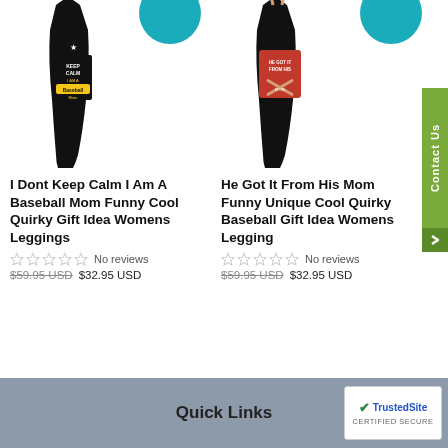[Figure (photo): Black leggings product photo with Keep Calm I Am A Baseball Mom text and teal circle element at top right]
[Figure (photo): Black leggings product photo with He Got It From His Mom baseball graphic and teal circle element at top right]
I Dont Keep Calm I Am A Baseball Mom Funny Cool Quirky Gift Idea Womens Leggings
No reviews
$59.95 USD $32.95 USD
He Got It From His Mom Funny Unique Cool Quirky Baseball Gift Idea Womens Legging
No reviews
$59.95 USD $32.95 USD
Quick Links
[Figure (logo): TrustedSite Certified Secure badge]